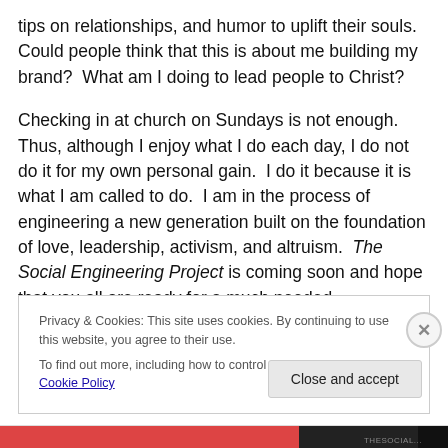tips on relationships, and humor to uplift their souls.  Could people think that this is about me building my brand?  What am I doing to lead people to Christ?

Checking in at church on Sundays is not enough.  Thus, although I enjoy what I do each day, I do not do it for my own personal gain.  I do it because it is what I am called to do.  I am in the process of engineering a new generation built on the foundation of love, leadership, activism, and altruism.  The Social Engineering Project is coming soon and hope that you all are ready for a much needed
Privacy & Cookies: This site uses cookies. By continuing to use this website, you agree to their use.
To find out more, including how to control cookies, see here: Cookie Policy
Close and accept